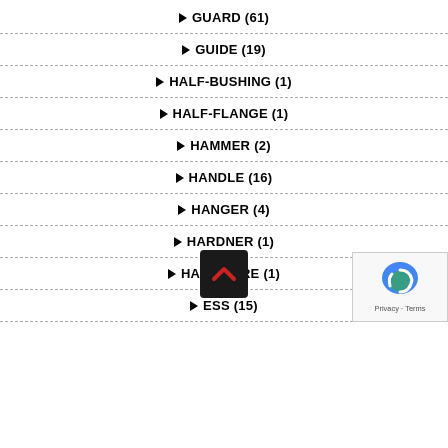GUARD (61)
GUIDE (19)
HALF-BUSHING (1)
HALF-FLANGE (1)
HAMMER (2)
HANDLE (16)
HANGER (4)
HARDNER (1)
HARDWARE (1)
ESS (15)